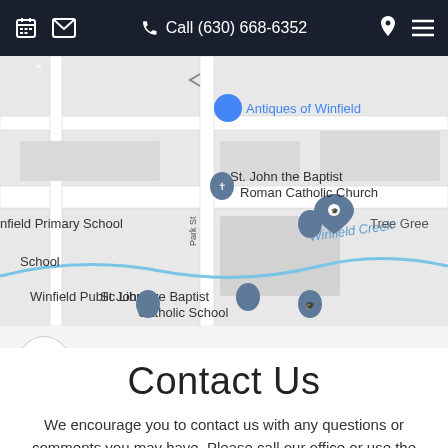Call (630) 668-6352
[Figure (map): Google Maps screenshot showing St. John the Baptist Catholic School and Roman Catholic Church area in Winfield, IL. Shows Winfield Creek, Antiques of Winfield, Winfield Public Library, and park St.]
Contact Us
We encourage you to contact us with any questions or comments you may have. Please call our office or use the